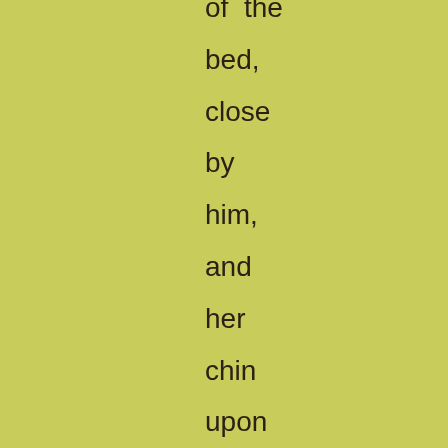of the bed, close by him, and her chin upon them. In this crouching attitude she watches him. The pipe is falling